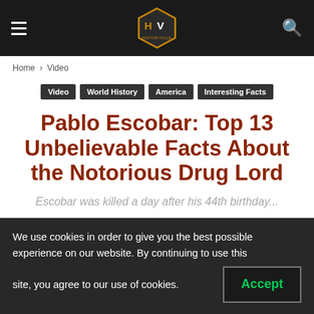HistoryVille navigation bar with hamburger menu, logo, and search icon
Home › Video
Video
World History
America
Interesting Facts
Pablo Escobar: Top 13 Unbelievable Facts About the Notorious Drug Lord
Escobar was killed a day after his 44th birthday...
We use cookies in order to give you the best possible experience on our website. By continuing to use this site, you agree to our use of cookies. Accept